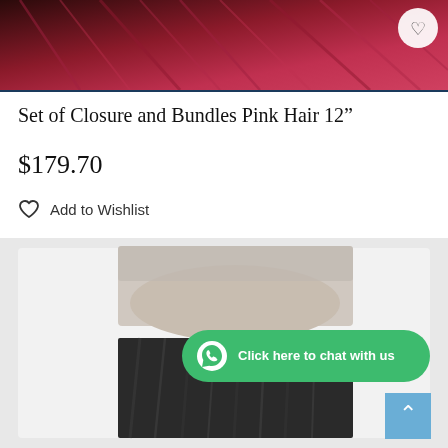[Figure (photo): Top portion of a pink/red hair product image with a heart/wishlist icon in the top right corner]
Set of Closure and Bundles Pink Hair 12"
$179.70
Add to Wishlist
[Figure (photo): Product image of a lace frontal closure with dark hair, with a green WhatsApp chat button overlay reading 'Click here to chat with us']